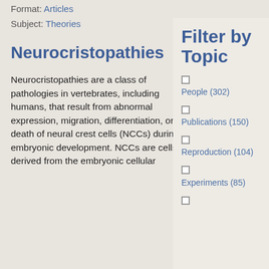Format: Articles
Subject: Theories
Neurocristopathies
Neurocristopathies are a class of pathologies in vertebrates, including humans, that result from abnormal expression, migration, differentiation, or death of neural crest cells (NCCs) during embryonic development. NCCs are cells derived from the embryonic cellular
Filter by Topic
People (302)
Publications (150)
Reproduction (104)
Experiments (85)